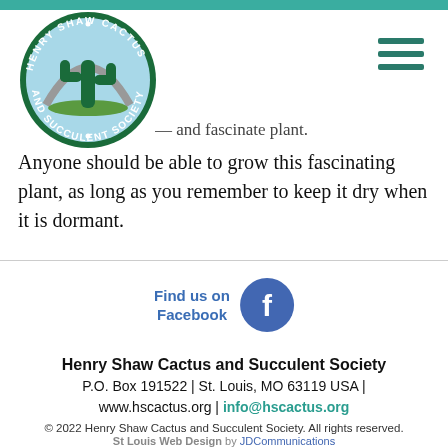[Figure (logo): Henry Shaw Cactus and Succulent Society circular logo with cactus and St. Louis arch illustration]
...and fascinate plant.
Anyone should be able to grow this fascinating plant, as long as you remember to keep it dry when it is dormant.
[Figure (logo): Find us on Facebook with Facebook circular icon]
Henry Shaw Cactus and Succulent Society
P.O. Box 191522 | St. Louis, MO 63119 USA |
www.hscactus.org | info@hscactus.org
© 2022 Henry Shaw Cactus and Succulent Society. All rights reserved.
St Louis Web Design by JDCommunications